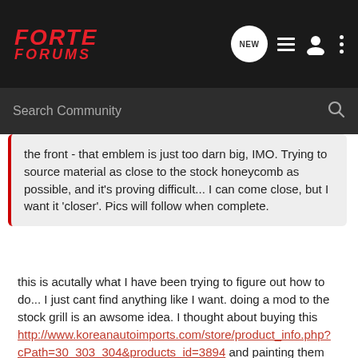FORTE FORUMS
Search Community
the front - that emblem is just too darn big, IMO. Trying to source material as close to the stock honeycomb as possible, and it's proving difficult... I can come close, but I want it 'closer'. Pics will follow when complete.
this is acutally what I have been trying to figure out how to do... I just cant find anything like I want. doing a mod to the stock grill is an awsome idea. I thought about buying this http://www.koreanautoimports.com/store/product_info.php?cPath=30_303_304&products_id=3894 and painting them black. but doing a mod to stock would be better. Also that grill is for the sedan, I am not sure they fit the koup.